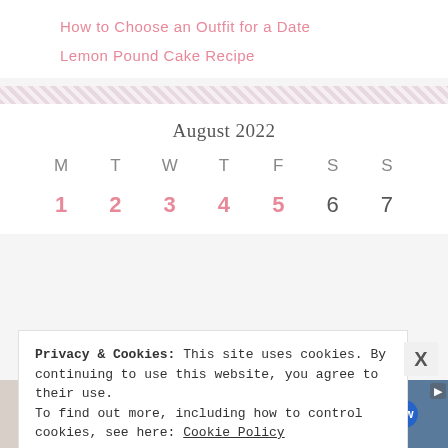How to Choose an Outfit for a Date
Lemon Pound Cake Recipe
August 2022
| M | T | W | T | F | S | S |
| --- | --- | --- | --- | --- | --- | --- |
| 1 | 2 | 3 | 4 | 5 | 6 | 7 |
Privacy & Cookies: This site uses cookies. By continuing to use this website, you agree to their use.
To find out more, including how to control cookies, see here: Cookie Policy